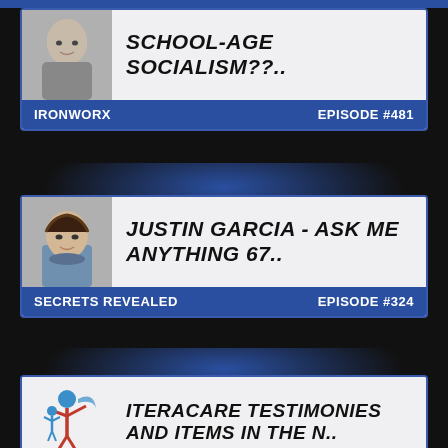SCHOOL-AGE SOCIALISM??..
IRONWORX | EPISODE #481
JUSTIN GARCIA - ASK ME ANYTHING 67..
SECRETS REVEALED | EPISODE #324
ITERACARE TESTIMONIES AND ITEMS IN THE N..
YOUR DIY HEALTH | EPISODE #373